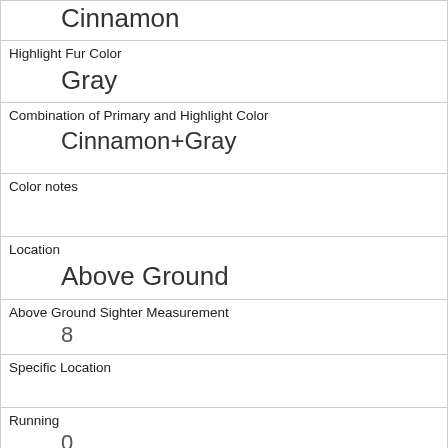| Cinnamon |
| Highlight Fur Color | Gray |
| Combination of Primary and Highlight Color | Cinnamon+Gray |
| Color notes |  |
| Location | Above Ground |
| Above Ground Sighter Measurement | 8 |
| Specific Location |  |
| Running | 0 |
| Chasing | 0 |
| Climbing | 0 |
| Eating | 1 |